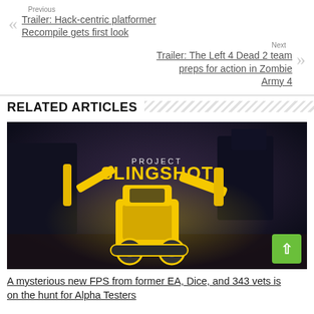Previous
Trailer: Hack-centric platformer Recompile gets first look
Next
Trailer: The Left 4 Dead 2 team preps for action in Zombie Army 4
RELATED ARTICLES
[Figure (photo): Game promotional image showing PROJECT SLINGSHOT title with yellow construction robot/mech on dark background]
A mysterious new FPS from former EA, Dice, and 343 vets is on the hunt for Alpha Testers